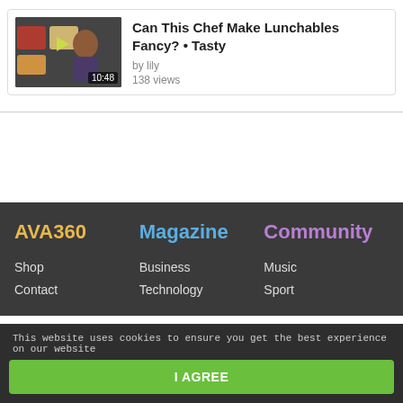[Figure (screenshot): Video thumbnail showing a woman cooking, with food items visible. Duration badge shows 10:48.]
Can This Chef Make Lunchables Fancy? • Tasty
by lily
138 views
AVA360
Shop
Contact

Magazine
Business
Technology

Community
Music
Sport
This website uses cookies to ensure you get the best experience on our website
I AGREE